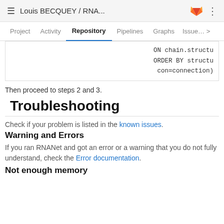≡  Louis BECQUEY / RNA...
Project  Activity  Repository  Pipelines  Graphs  Issues >
ON chain.structu
ORDER BY structu
con=connection)
Then proceed to steps 2 and 3.
Troubleshooting
Check if your problem is listed in the known issues.
Warning and Errors
If you ran RNANet and got an error or a warning that you do not fully understand, check the Error documentation.
Not enough memory